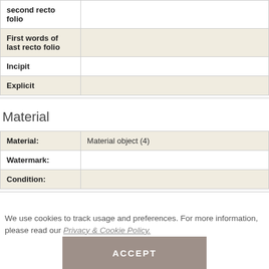| Field | Value |
| --- | --- |
| second recto folio |  |
| First words of last recto folio |  |
| Incipit |  |
| Explicit |  |
Material
| Field | Value |
| --- | --- |
| Material: | Material object (4) |
| Watermark: |  |
| Condition: |  |
We use cookies to track usage and preferences. For more information, please read our Privacy & Cookie Policy.